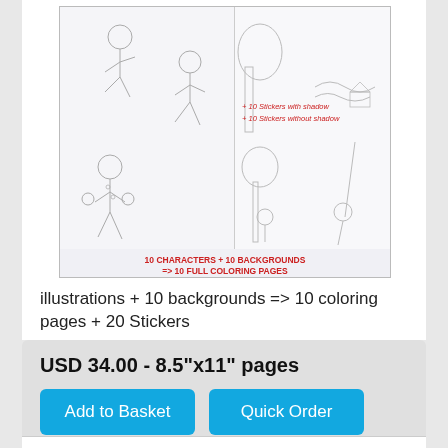[Figure (illustration): Product preview image showing coloring book pages: character stickers (girls in various poses), background scenes (tree, house, nature), with red text annotations '+ 10 Stickers with shadow', '+ 10 Stickers without shadow', and '10 CHARACTERS + 10 BACKGROUNDS => 10 FULL COLORING PAGES']
illustrations + 10 backgrounds => 10 coloring pages + 20 Stickers
USD 34.00 - 8.5"x11" pages
Add to Basket
Quick Order